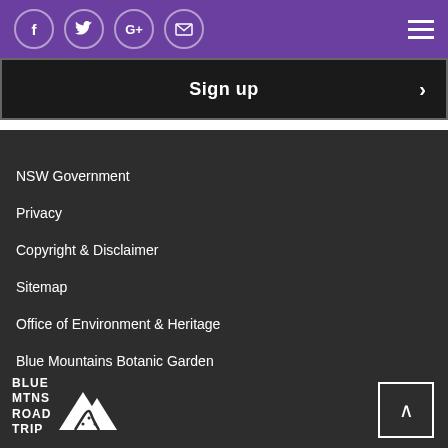Social icons: Facebook, Twitter, Google+, Email | Hamburger menu
Sign up >
NSW Government
Privacy
Copyright & Disclaimer
Sitemap
Office of Environment & Heritage
Blue Mountains Botanic Garden
[Figure (logo): Blue Mountains Road Trip logo with mountain silhouette graphic and winding road]
^ Back to top button